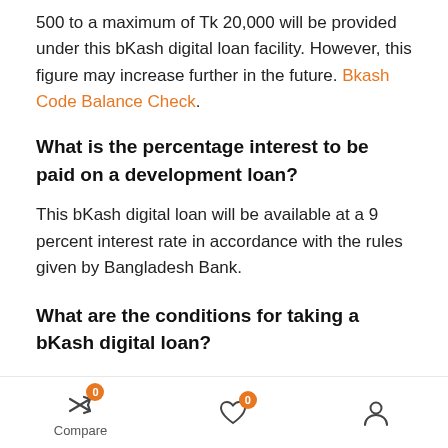500 to a maximum of Tk 20,000 will be provided under this bKash digital loan facility. However, this figure may increase further in the future. Bkash Code Balance Check.
What is the percentage interest to be paid on a development loan?
This bKash digital loan will be available at a 9 percent interest rate in accordance with the rules given by Bangladesh Bank.
What are the conditions for taking a bKash digital loan?
Compare | 0 | 0